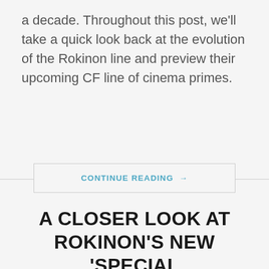a decade. Throughout this post, we'll take a quick look back at the evolution of the Rokinon line and preview their upcoming CF line of cinema primes.
CONTINUE READING →
A CLOSER LOOK AT ROKINON'S NEW 'SPECIAL PERFORMANCE' LINE OF PRIMES